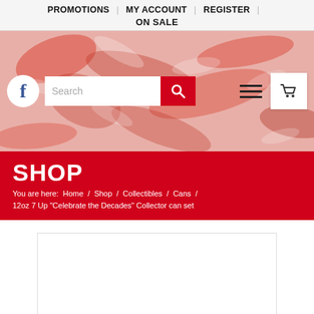PROMOTIONS | MY ACCOUNT | REGISTER | ON SALE
[Figure (screenshot): Website hero banner with red abstract background pattern, Facebook icon, search bar with red search button, hamburger menu, and shopping cart icon]
SHOP
You are here: Home / Shop / Collectibles / Cans / 12oz 7 Up "Celebrate the Decades" Collector can set
[Figure (photo): Product image placeholder box (white with border)]